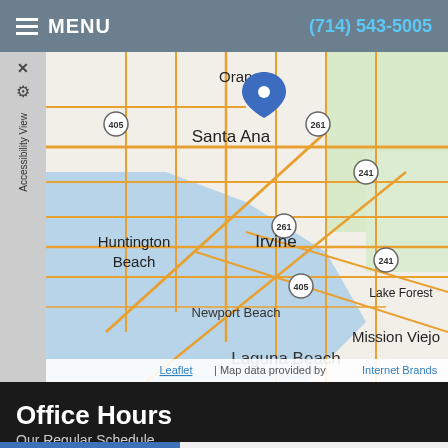MENU   (714) 543-5005
[Figure (map): Street map showing Orange County, California area including Santa Ana, Huntington Beach, Irvine, Newport Beach, Mission Viejo, Laguna Beach, Lake Forest. A blue location pin is placed near Orange/Santa Ana. Road networks shown in orange/yellow on beige background with light blue water/ocean area. Highway numbers 405, 261, 241 visible.]
Leaflet | Map data provided by Internet Brands
Office Hours
Our Regular Schedule
| Day | Hours |
| --- | --- |
| Monday: | 9:00 am - 12:00 pm |